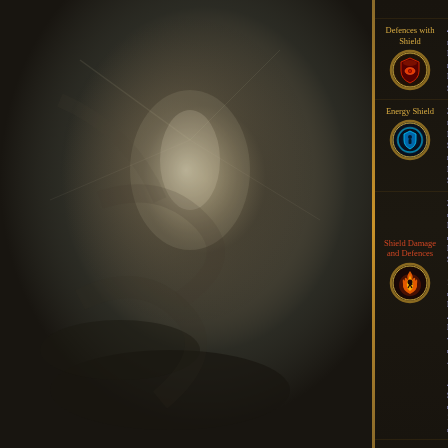[Figure (illustration): Dark fantasy game background showing a ghostly figure with light emanating, smoky/foggy atmosphere, muted grey-brown tones]
Defences with Shield — 40% increased Defences from Equipped Shield
Energy Shield — 30% increased Energy Shield from Equipped Shield
Shield Damage and Defences — 30% increased Defences from Equipped Shield, 14% increased Physical Attack Damage while holding a Shield, Attack Skills deal 14% increased